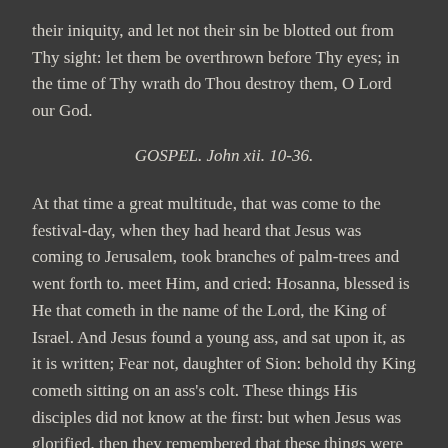their iniquity, and let not their sin be blotted out from Thy sight: let them be overthrown before Thy eyes; in the time of Thy wrath do Thou destroy them, O Lord our God.
GOSPEL. John xii. 10-36.
At that time a great multitude, that was come to the festival-day, when they had heard that Jesus was coming to Jerusalem, took branches of palm-trees and went forth to. meet Him, and cried: Hosanna, blessed is He that cometh in the name of the Lord, the King of Israel. And Jesus found a young ass, and sat upon it, as it is written; Fear not, daughter of Sion: behold thy King cometh sitting on an ass's colt. These things His disciples did not know at the first: but when Jesus was glorified, then they remembered that these things were written of Him, and that they had done these things to Him. The multitude therefore gave testimony, which was with Him when He called Lazarus out of the grave, and raised him from the dead. For which reason also the people came to meet Him: because they heard that He had done this miracle The Pharisees therefore